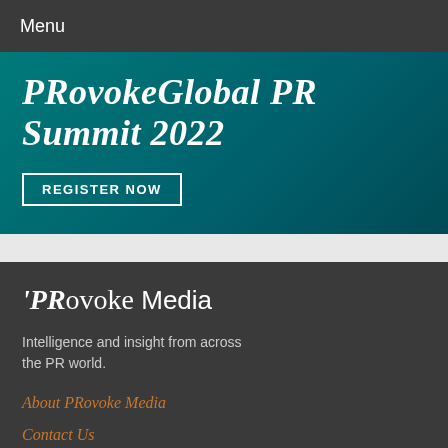Menu
PROvokeGlobal PR Summit 2022
REGISTER NOW
[Figure (logo): PRovoke Media logo in white and dark background]
Intelligence and insight from across the PR world.
About PRovoke Media
Contact Us
Privacy & Cookie Policy